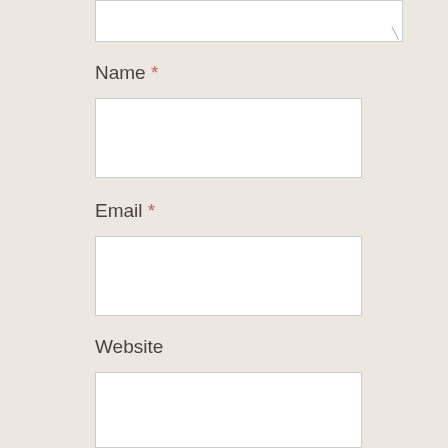[Figure (screenshot): Partially visible textarea with resize handle at bottom right corner]
Name *
[Figure (screenshot): Empty text input field for Name]
Email *
[Figure (screenshot): Empty text input field for Email]
Website
[Figure (screenshot): Empty text input field for Website]
POST COMMENT
Notify me of new comments via email.
Notify me of new posts via